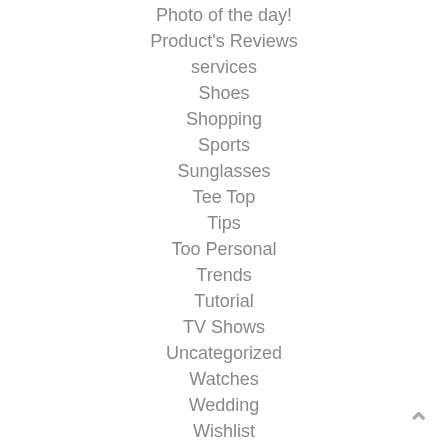Photo of the day!
Product's Reviews
services
Shoes
Shopping
Sports
Sunglasses
Tee Top
Tips
Too Personal
Trends
Tutorial
TV Shows
Uncategorized
Watches
Wedding
Wishlist
YG Family